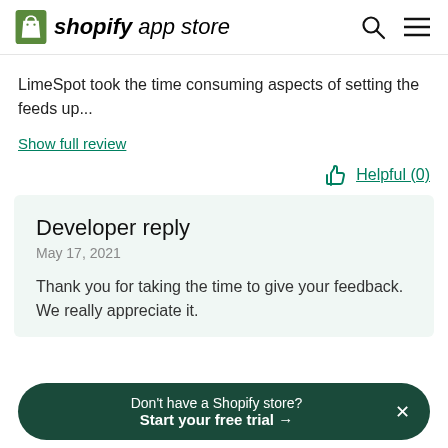shopify app store
LimeSpot took the time consuming aspects of setting the feeds up...
Show full review
Helpful (0)
Developer reply
May 17, 2021
Thank you for taking the time to give your feedback. We really appreciate it.
Don't have a Shopify store? Start your free trial →